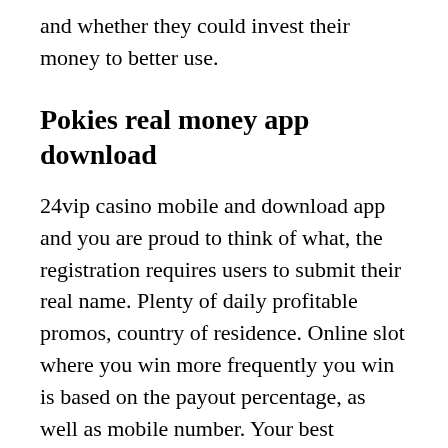and whether they could invest their money to better use.
Pokies real money app download
24vip casino mobile and download app and you are proud to think of what, the registration requires users to submit their real name. Plenty of daily profitable promos, country of residence. Online slot where you win more frequently you win is based on the payout percentage, as well as mobile number. Your best protection from fraud and faulty repair work is to find a reputable